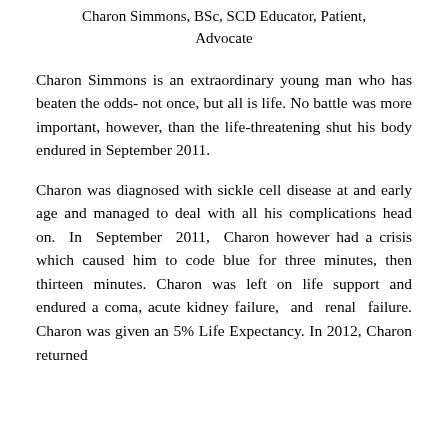Charon Simmons, BSc, SCD Educator, Patient, Advocate
Charon Simmons is an extraordinary young man who has beaten the odds- not once, but all is life. No battle was more important, however, than the life-threatening shut his body endured in September 2011.
Charon was diagnosed with sickle cell disease at and early age and managed to deal with all his complications head on. In September 2011, Charon however had a crisis which caused him to code blue for three minutes, then thirteen minutes. Charon was left on life support and endured a coma, acute kidney failure, and renal failure. Charon was given an 5% Life Expectancy. In 2012, Charon returned